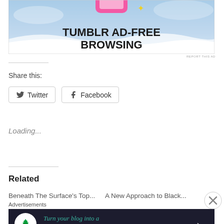[Figure (illustration): Tumblr ad showing 'TUMBLR AD-FREE BROWSING' text on a blue background with a wave motif]
REPORT THIS AD
Share this:
Twitter  Facebook
Loading...
Related
Beneath The Surface's Top...   A New Approach to Black...
Advertisements
[Figure (illustration): Dark banner ad: 'Turn your blog into a money-making online course.' with arrow button]